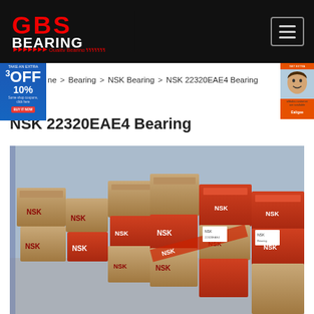GBS Bearing — Quality Bearing
Home > Bearing > NSK Bearing > NSK 22320EAE4 Bearing
NSK 22320EAE4 Bearing
[Figure (photo): Warehouse photo showing stacks of NSK bearing boxes in brown and red packaging]